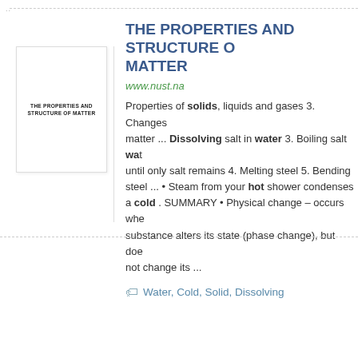[Figure (other): Thumbnail image of a document cover titled 'THE PROPERTIES AND STRUCTURE OF MATTER']
THE PROPERTIES AND STRUCTURE OF MATTER
www.nust.na
Properties of solids, liquids and gases 3. Changes of matter ... Dissolving salt in water 3. Boiling salt wat until only salt remains 4. Melting steel 5. Bending steel ... • Steam from your hot shower condenses a cold . SUMMARY • Physical change – occurs whe substance alters its state (phase change), but doe not change its ...
Water, Cold, Solid, Dissolving